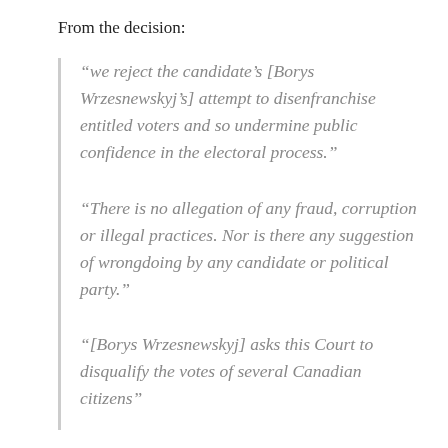From the decision:
“we reject the candidate’s [Borys Wrzesnewskyj’s] attempt to disenfranchise entitled voters and so undermine public confidence in the electoral process.”
“There is no allegation of any fraud, corruption or illegal practices. Nor is there any suggestion of wrongdoing by any candidate or political party.”
“[Borys Wrzesnewskyj] asks this Court to disqualify the votes of several Canadian citizens”